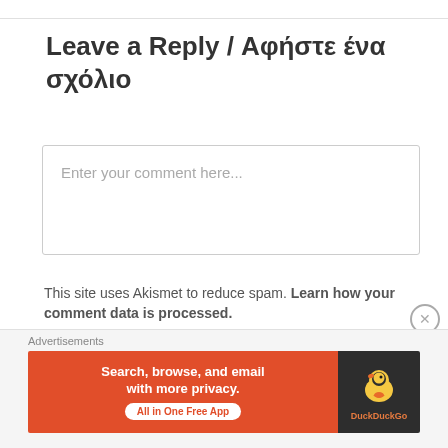Leave a Reply / Αφήστε ένα σχόλιο
Enter your comment here...
This site uses Akismet to reduce spam. Learn how your comment data is processed.
PREVIOUS POST
“Love Uncovered” by Laura Barnard
[Figure (other): DuckDuckGo advertisement banner: orange section with text 'Search, browse, and email with more privacy. All in One Free App', dark section with DuckDuckGo duck logo]
Advertisements